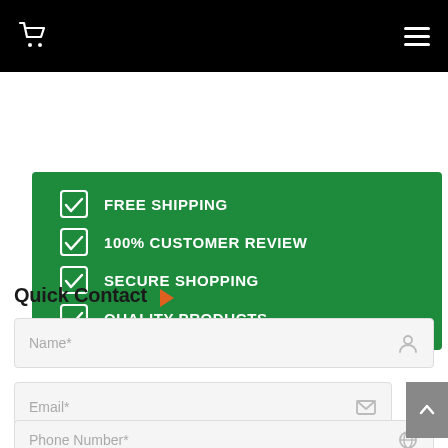[Figure (screenshot): Black navigation bar with white shopping cart icon on the left and hamburger menu icon on the right]
[Figure (infographic): Green banner with four white checkmark items: FREE SHIPPING, 100% CUSTOMER REVIEW, SECURE SHOPPING, QUALITY PRODUCTS]
Quick Contact
[Figure (screenshot): Form input field labeled Name* with a person icon on the right]
[Figure (screenshot): Form input field labeled Email* with an envelope icon on the right]
[Figure (screenshot): Form input field labeled Phone Number* with a globe icon on the right (partially visible)]